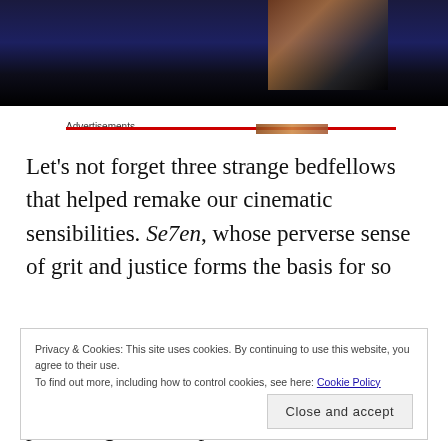[Figure (photo): Dark blue/navy cinematic still image, partially visible at top of page, showing a figure against dark background]
Advertisements
Let's not forget three strange bedfellows that helped remake our cinematic sensibilities. Se7en, whose perverse sense of grit and justice forms the basis for so
Privacy & Cookies: This site uses cookies. By continuing to use this website, you agree to their use.
To find out more, including how to control cookies, see here: Cookie Policy
Close and accept
providing an exemplar for the combination of wit and